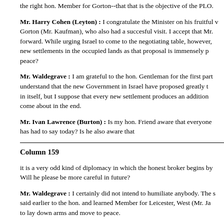the right hon. Member for Gorton--that that is the objective of the PLO.
Mr. Harry Cohen (Leyton) : I congratulate the Minister on his fruitful visit. Gorton (Mr. Kaufman), who also had a succesful visit. I accept that Mr. forward. While urging Israel to come to the negotiating table, however, new settlements in the occupied lands as that proposal is immensely p peace?
Mr. Waldegrave : I am grateful to the hon. Gentleman for the first part understand that the new Government in Israel have proposed greatly t in itself, but I suppose that every new settlement produces an addition come about in the end.
Mr. Ivan Lawrence (Burton) : Is my hon. Friend aware that everyone has had to say today? Is he also aware that
Column 159
it is a very odd kind of diplomacy in which the honest broker begins by Will he please be more careful in future?
Mr. Waldegrave : I certainly did not intend to humiliate anybody. The s said earlier to the hon. and learned Member for Leicester, West (Mr. Ja to lay down arms and move to peace.
Mr. Stuart Bell (Middlesbrough) : As one who has recently been in Is borders is a question of life and death for Israel and that there must the PLO? Does not the Minister agree that 1.2 million Israelis nevertheless the west bank? Does he further agree that, now that we have been dis even-handed approach to both parties can have any constructive effec
Mr. Wa...